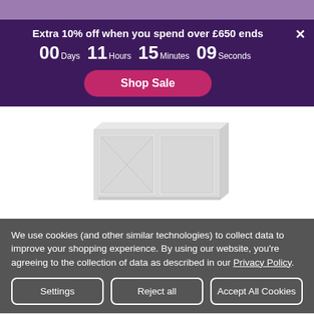Purple header bar
Extra 10% off when you spend over £650 ends 00 Days 11 Hours 15 Minutes 09 Seconds
[Figure (other): Shop Sale button - pink rounded rectangle button with white bold text]
[Figure (illustration): White/light grey low sideboard or TV unit furniture product image on white background]
We use cookies (and other similar technologies) to collect data to improve your shopping experience. By using our website, you're agreeing to the collection of data as described in our Privacy Policy.
Settings
Reject all
Accept All Cookies